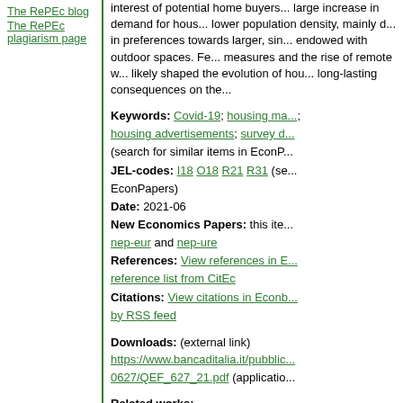The RePEc blog
The RePEc plagiarism page
interest of potential home buyers... large increase in demand for hous... lower population density, mainly d... in preferences towards larger, sin... endowed with outdoor spaces. Fe... measures and the rise of remote w... likely shaped the evolution of hou... long-lasting consequences on the...
Keywords: Covid-19; housing ma...; housing advertisements; survey d... (search for similar items in EconP...
JEL-codes: I18 O18 R21 R31 (se... EconPapers)
Date: 2021-06
New Economics Papers: this ite... nep-eur and nep-ure
References: View references in E... reference list from CitEc
Citations: View citations in Econb... by RSS feed
Downloads: (external link) https://www.bancaditalia.it/pubblic... 0627/QEF_627_21.pdf (applicatio...
Related works: This item may be available elsewh... Search for items with the same tit...